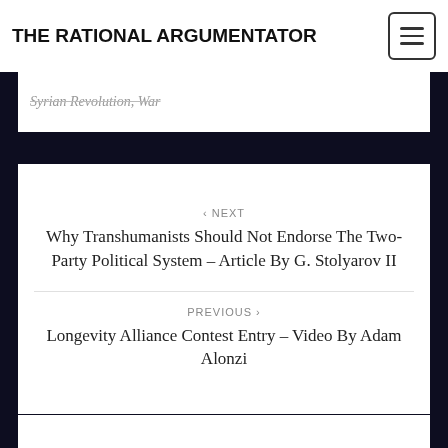THE RATIONAL ARGUMENTATOR
Syrian Revolution, War
‹ NEXT
Why Transhumanists Should Not Endorse The Two-Party Political System – Article By G. Stolyarov II
PREVIOUS ›
Longevity Alliance Contest Entry – Video By Adam Alonzi
Leave a Reply